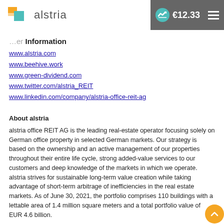alstria — €12.33
Further Information
www.alstria.com
www.beehive.work
www.green-dividend.com
www.twitter.com/alstria_REIT
www.linkedin.com/company/alstria-office-reit-ag
About alstria
alstria office REIT AG is the leading real-estate operator focusing solely on German office property in selected German markets. Our strategy is based on the ownership and an active management of our properties throughout their entire life cycle, strong added-value services to our customers and deep knowledge of the markets in which we operate. alstria strives for sustainable long-term value creation while taking advantage of short-term arbitrage of inefficiencies in the real estate markets. As of June 30, 2021, the portfolio comprises 110 buildings with a lettable area of 1.4 million square meters and a total portfolio value of EUR 4.6 billion.